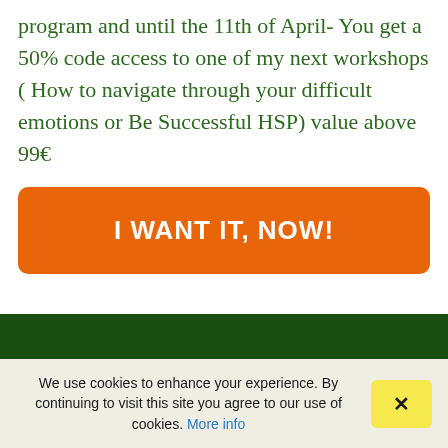program and until the 11th of April- You get a 50% code access to one of my next workshops ( How to navigate through your difficult emotions or Be Successful HSP) value above 99€
I WANT IT, NOW!
We use cookies to enhance your experience. By continuing to visit this site you agree to our use of cookies. More info